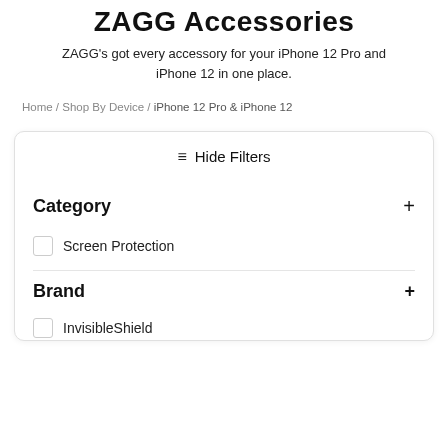ZAGG Accessories
ZAGG's got every accessory for your iPhone 12 Pro and iPhone 12 in one place.
Home / Shop By Device / iPhone 12 Pro & iPhone 12
≡ Hide Filters
Category +
Screen Protection
Brand +
InvisibleShield